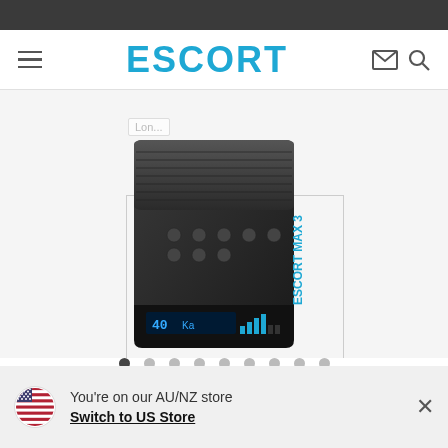ESCORT
[Figure (photo): Close-up photo of ESCORT MAX 3 radar detector device, black color, showing top and front face with blue LED display showing '40 Ka' and signal bars]
You're on our AU/NZ store
Switch to US Store